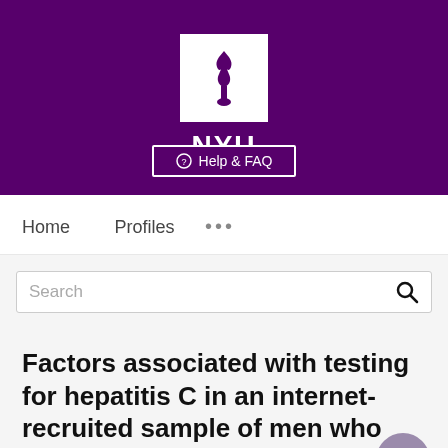[Figure (logo): NYU (New York University) logo: white torch/flame icon in white square box on purple background, with 'NYU' text in white below, and a 'Help & FAQ' button at the bottom of the purple banner]
Home   Profiles   ...
Search
Factors associated with testing for hepatitis C in an internet-recruited sample of men who have sex with men